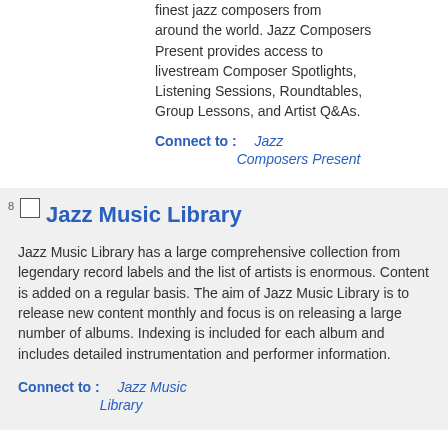finest jazz composers from around the world. Jazz Composers Present provides access to livestream Composer Spotlights, Listening Sessions, Roundtables, Group Lessons, and Artist Q&As.
Connect to :    Jazz Composers Present
Jazz Music Library
Jazz Music Library has a large comprehensive collection from legendary record labels and the list of artists is enormous. Content is added on a regular basis. The aim of Jazz Music Library is to release new content monthly and focus is on releasing a large number of albums. Indexing is included for each album and includes detailed instrumentation and performer information.
Connect to :    Jazz Music Library